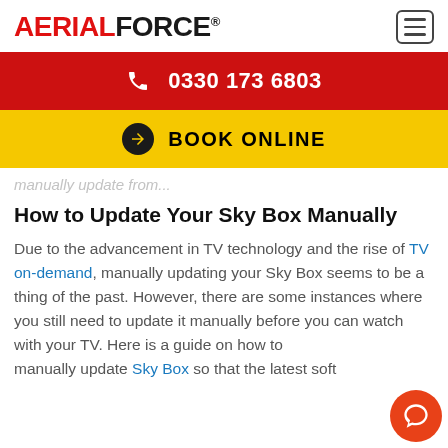[Figure (logo): AerialForce logo with red AERIAL and black FORCE text, registered trademark symbol]
0330 173 6803
BOOK ONLINE
manually update from...
How to Update Your Sky Box Manually
Due to the advancement in TV technology and the rise of TV on-demand, manually updating your Sky Box seems to be a thing of the past. However, there are some instances where you still need to update it manually before you can watch with your TV. Here is a guide on how to manually update Sky Box that the latest soft...